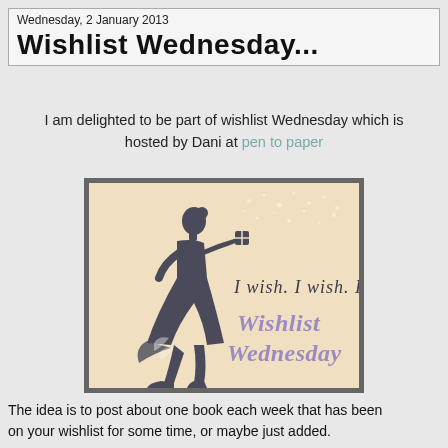Wednesday, 2 January 2013
Wishlist Wednesday...
I am delighted to be part of wishlist Wednesday which is hosted by Dani at pen to paper
[Figure (illustration): Wishlist Wednesday logo: silhouette of a woman in a dress holding a small gift, with text 'I wish. I wish. I wish' in cursive dark script and 'Wishlist Wednesday' in purple cursive, on a peach/beige background with sparkles.]
The idea is to post about one book each week that has been on your wishlist for some time, or maybe just added.